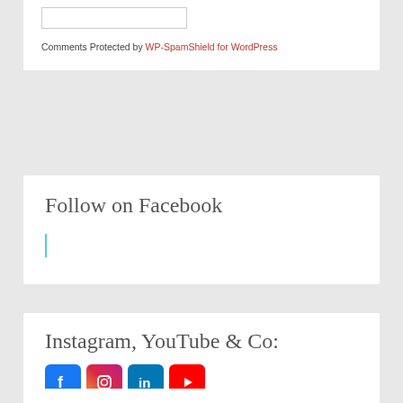Comments Protected by WP-SpamShield for WordPress
Follow on Facebook
Instagram, YouTube & Co:
[Figure (other): Social media icons: Facebook, Instagram, LinkedIn, YouTube]